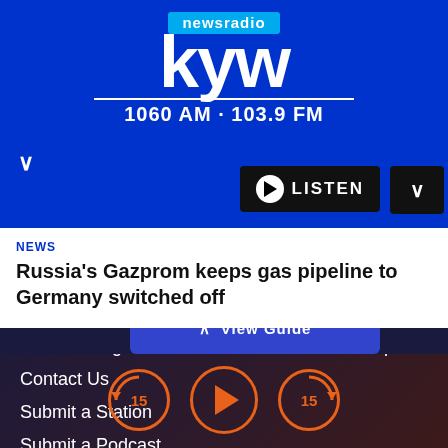[Figure (screenshot): KYW Newsradio app screenshot showing logo, listen button, news headline card, navigation menu items, and player controls]
newsradio kyw 1060 AM · 103.9 FM
LISTEN
NEWS
Russia's Gazprom keeps gas pipeline to Germany switched off
#ImListening
Contact Us
Submit a Station
Submit a Podcast
Sitemap
Advertise with Us
Audacy Corporate Site
Public Help File
View Guide